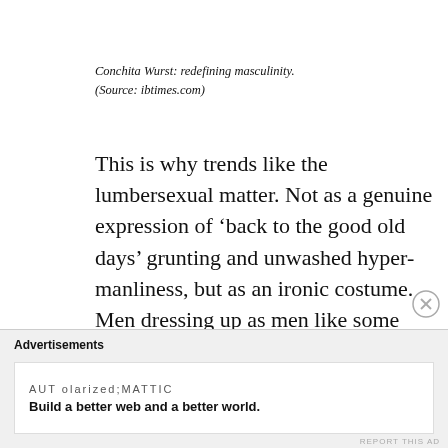Conchita Wurst: redefining masculinity. (Source: ibtimes.com)
This is why trends like the lumbersexual matter. Not as a genuine expression of ‘back to the good old days’ grunting and unwashed hyper-manliness, but as an ironic costume. Men dressing up as men like some kind of weird reverse drag act. Fashion – as ephemeral as it may seem to some –
Advertisements
AUTOMATTIC
Build a better web and a better world.
REPORT THIS AD